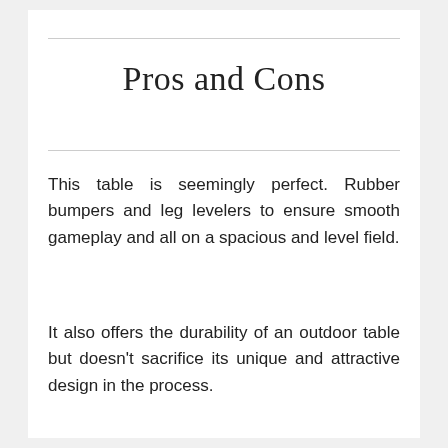Pros and Cons
This table is seemingly perfect. Rubber bumpers and leg levelers to ensure smooth gameplay and all on a spacious and level field.
It also offers the durability of an outdoor table but doesn't sacrifice its unique and attractive design in the process.